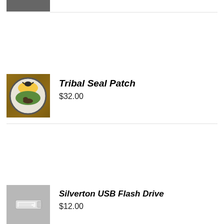[Figure (photo): Partially visible dark gray product image at the top of the page]
[Figure (photo): Tribal Seal Patch product image showing a circular tribal seal with eagle, bear, sun and landscape on wooden background]
Tribal Seal Patch
$32.00
[Figure (photo): Silverton USB Flash Drive product image showing a white USB drive on gray background]
Silverton USB Flash Drive
$12.00